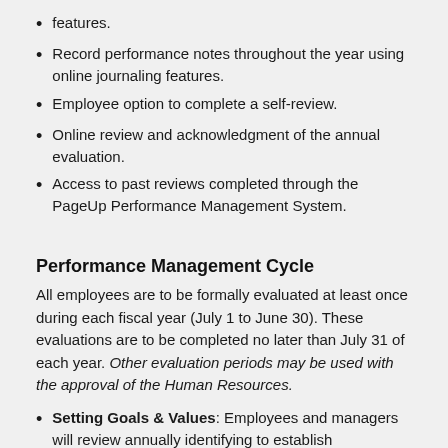features.
Record performance notes throughout the year using online journaling features.
Employee option to complete a self-review.
Online review and acknowledgment of the annual evaluation.
Access to past reviews completed through the PageUp Performance Management System.
Performance Management Cycle
All employees are to be formally evaluated at least once during each fiscal year (July 1 to June 30). These evaluations are to be completed no later than July 31 of each year. Other evaluation periods may be used with the approval of the Human Resources.
Setting Goals & Values: Employees and managers will review annually identifying to establish...